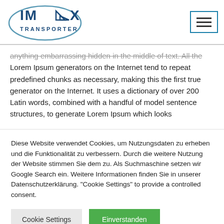IMEX TRANSPORTER [logo with hamburger menu]
anything embarrassing hidden in the middle of text. All the Lorem Ipsum generators on the Internet tend to repeat predefined chunks as necessary, making this the first true generator on the Internet. It uses a dictionary of over 200 Latin words, combined with a handful of model sentence structures, to generate Lorem Ipsum which looks
Diese Website verwendet Cookies, um Nutzungsdaten zu erheben und die Funktionalität zu verbessern. Durch die weitere Nutzung der Website stimmen Sie dem zu. Als Suchmaschine setzen wir Google Search ein. Weitere Informationen finden Sie in unserer Datenschutzerklärung. "Cookie Settings" to provide a controlled consent.
Cookie Settings
Einverstanden